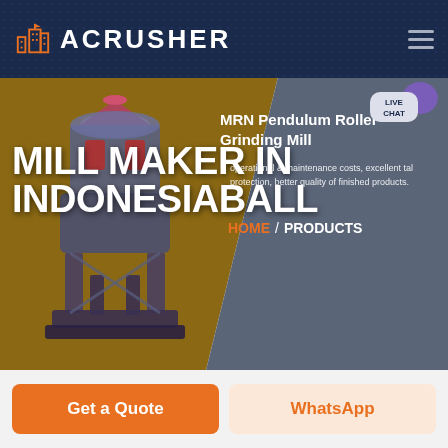ACRUSHER
MILL MAKER IN INDONESIABALL
MRN Pendulum Roller Grinding Mill
operational & maintenance costs, excellent tal protection, better quality of finished products.
HOME / PRODUCTS
[Figure (screenshot): ACRUSHER website screenshot showing a mill maker product page with hero image of grinding mill machine, navigation header with logo and hamburger menu, live chat bubble, breadcrumb navigation HOME / PRODUCTS, and two CTA buttons: Get a Quote and WhatsApp]
Get a Quote
WhatsApp